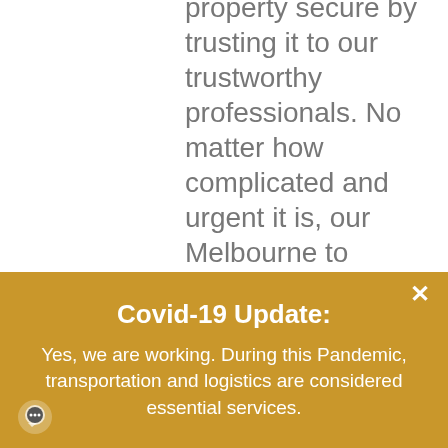property secure by trusting it to our trustworthy professionals. No matter how complicated and urgent it is, our Melbourne to Sydney interstate removalists have the expertise and knowledge to make relocating simple and
Covid-19 Update:
Yes, we are working. During this Pandemic, transportation and logistics are considered essential services.